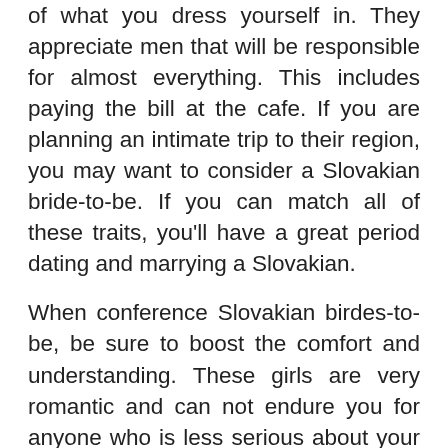of what you dress yourself in. They appreciate men that will be responsible for almost everything. This includes paying the bill at the cafe. If you are planning an intimate trip to their region, you may want to consider a Slovakian bride-to-be. If you can match all of these traits, you'll have a great period dating and marrying a Slovakian.
When conference Slovakian birdes-to-be, be sure to boost the comfort and understanding. These girls are very romantic and can not endure you for anyone who is less serious about your relationship. If you are looking for a long-term commitment, you'll be wanting to be honest with her and have absolutely her that you slovakian brides aren't interested in